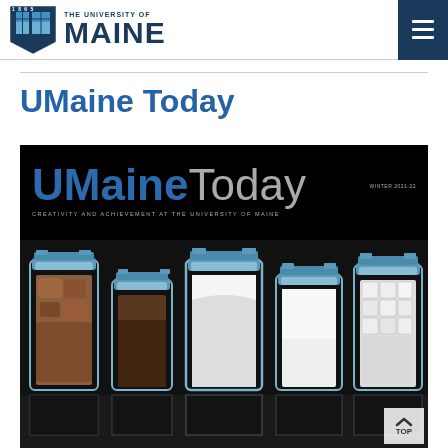1865 THE UNIVERSITY OF MAINE
UMaine Today
[Figure (photo): Cover of UMaine Today magazine (Winter 2021-22) showing the title 'UMaineToday' in blue and gray on a black background with a subtitle 'Creativity and Achievement at the University of Maine', and a photo of five glass jars containing different types of sugar/sweeteners against a black reflective surface.]